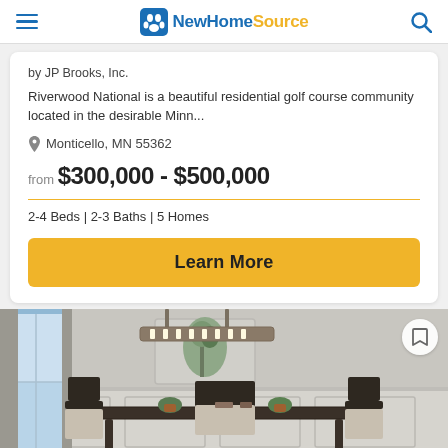NewHomeSource
by JP Brooks, Inc.
Riverwood National is a beautiful residential golf course community located in the desirable Minn...
Monticello, MN 55362
from $300,000 - $500,000
2-4 Beds | 2-3 Baths | 5 Homes
Learn More
[Figure (photo): Interior photo of a dining room with dark wood table, upholstered chairs, potted plants, wall art, wainscoting, and a rectangular pendant chandelier.]